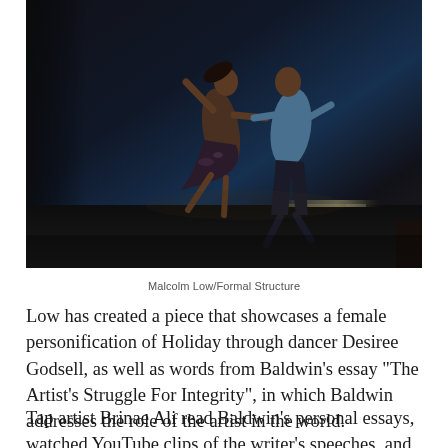[Figure (photo): Two dancers performing on a dark stage. A woman in a floral dress and a man in a light blue shirt are mid-performance, reaching toward each other with outstretched arms. The stage has a dark reflective floor with a sparkle strip in the background.]
Malcolm Low/Formal Structure
Low has created a piece that showcases a female personification of Holiday through dancer Desiree Godsell, as well as words from Baldwin’s essay “The Artist’s Struggle For Integrity”, in which Baldwin addresses the role of the artist in the world.
Tap artist Brinae Ali read Baldwin’s personal essays, watched YouTube clips of the writer’s speeches, and